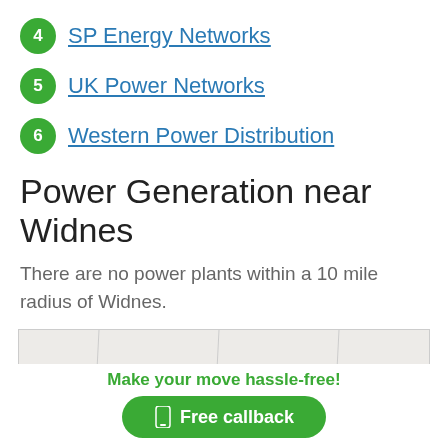4 SP Energy Networks
5 UK Power Networks
6 Western Power Distribution
Power Generation near Widnes
There are no power plants within a 10 mile radius of Widnes.
[Figure (map): A map area showing the region near Widnes, partially visible]
Make your move hassle-free!
Free callback